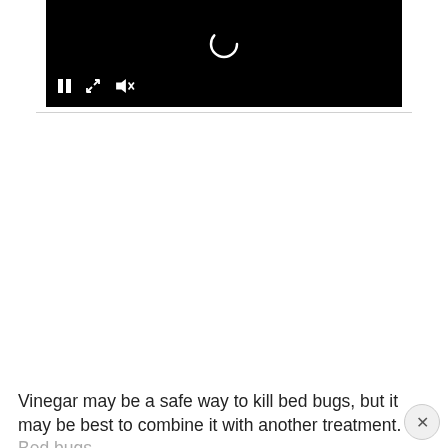[Figure (screenshot): Video player with black background, loading spinner ring at top center, and playback controls at bottom left: pause button (two vertical bars), fullscreen/expand icon (diagonal arrows), and muted speaker icon (speaker with X)]
Vinegar may be a safe way to kill bed bugs, but it may be best to combine it with another treatment. Bed bugs